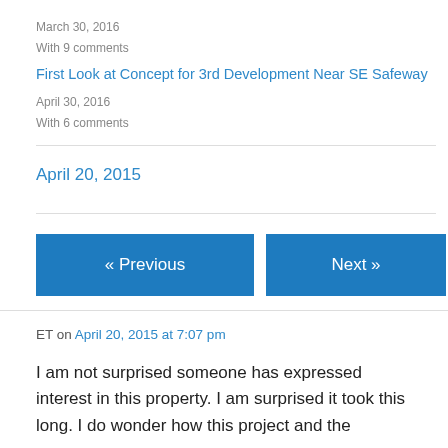March 30, 2016
With 9 comments
First Look at Concept for 3rd Development Near SE Safeway
April 30, 2016
With 6 comments
April 20, 2015
« Previous
Next »
ET on April 20, 2015 at 7:07 pm
I am not surprised someone has expressed interest in this property. I am surprised it took this long. I do wonder how this project and the